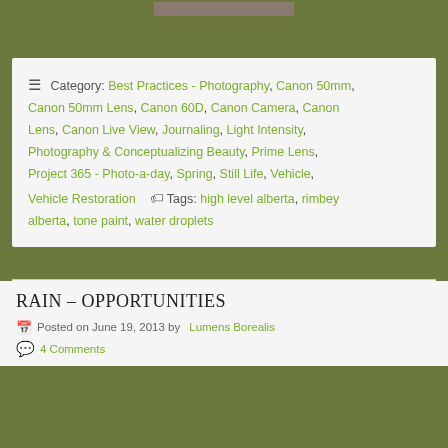[Figure (other): Top decorative bar with a small brownish-gray image placeholder centered on a green background]
Category: Best Practices - Photography, Canon 50mm, Canon 50mm Lens, Canon 60D, Canon Camera, Canon Lens, Canon Live View, Journaling, Light Intensity, Photography & Conceptualizing Beauty, Prime Lens, Project 365 - Photo-a-day, Spring, Still Life, Vehicle, Vehicle Restoration  Tags: high level alberta, rimbey alberta, tone paint, water droplets
RAIN – OPPORTUNITIES
Posted on June 19, 2013 by Lumens Borealis
4 Comments